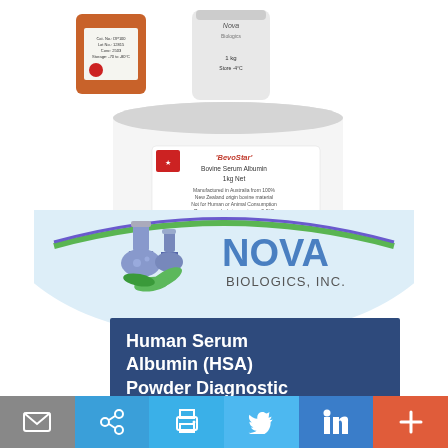[Figure (photo): Product photo showing Nova Biologics laboratory containers and reagent bottles including a large white 1kg bucket labeled 'BevoStar Bovine Serum Albumin 1kg Net' and smaller amber/brown bottles, with the Nova Biologics Inc. logo (laboratory flasks and NOVA BIOLOGICS, INC. text) on a light blue gradient background]
Human Serum Albumin (HSA) Powder Diagnostic
[Figure (logo): Nova Biologics Inc. logo with laboratory flask icons and blue arc design]